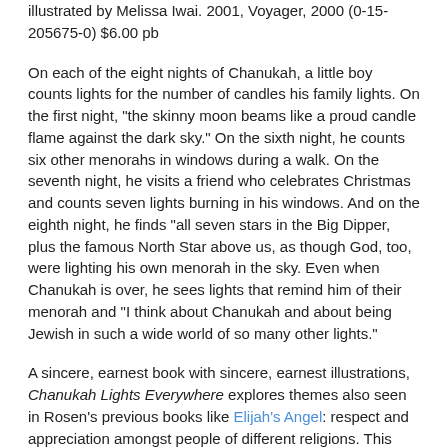illustrated by Melissa Iwai. 2001, Voyager, 2000 (0-15-205675-0) $6.00 pb
On each of the eight nights of Chanukah, a little boy counts lights for the number of candles his family lights. On the first night, "the skinny moon beams like a proud candle flame against the dark sky." On the sixth night, he counts six other menorahs in windows during a walk. On the seventh night, he visits a friend who celebrates Christmas and counts seven lights burning in his windows. And on the eighth night, he finds "all seven stars in the Big Dipper, plus the famous North Star above us, as though God, too, were lighting his own menorah in the sky. Even when Chanukah is over, he sees lights that remind him of their menorah and "I think about Chanukah and about being Jewish in such a wide world of so many other lights."
A sincere, earnest book with sincere, earnest illustrations, Chanukah Lights Everywhere explores themes also seen in Rosen's previous books like Elijah's Angel: respect and appreciation amongst people of different religions. This time it comes across as more messagey than heartwarming, however. The more you read of the text—with lots of font